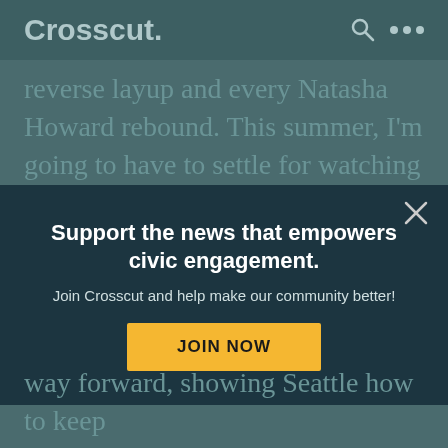Crosscut.
reverse layup and every Natasha Howard rebound. This summer, I'm going to have to settle for watching them from afar as they (we hope) win it all, but I'm also going to be
Support the news that empowers civic engagement.
Join Crosscut and help make our community better!
JOIN NOW
way forward, showing Seattle how to keep